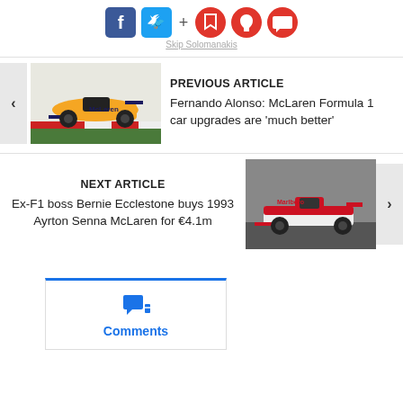[Figure (screenshot): Social media sharing icons: Facebook, Twitter, plus sign, bookmark, bell, and chat bubble icons in a horizontal row]
Skip Solomanakis
[Figure (photo): McLaren Formula 1 orange car on track]
PREVIOUS ARTICLE
Fernando Alonso: McLaren Formula 1 car upgrades are 'much better'
[Figure (photo): 1993 Ayrton Senna McLaren red and white Formula 1 car on track]
NEXT ARTICLE
Ex-F1 boss Bernie Ecclestone buys 1993 Ayrton Senna McLaren for €4.1m
[Figure (screenshot): Comments section box with chat icon and Comments label in blue]